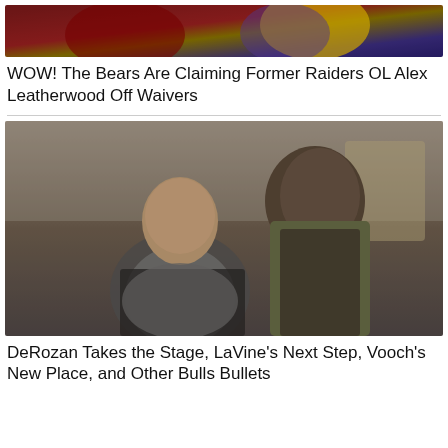[Figure (photo): Football action photo showing players in red/maroon and yellow/purple uniforms, cropped to show upper portion only]
WOW! The Bears Are Claiming Former Raiders OL Alex Leatherwood Off Waivers
[Figure (photo): Two basketball players in an indoor setting — one younger man facing camera wearing gray shirt and dark vest, one taller man with braids facing away wearing olive/tan top and dark vest]
DeRozan Takes the Stage, LaVine's Next Step, Vooch's New Place, and Other Bulls Bullets